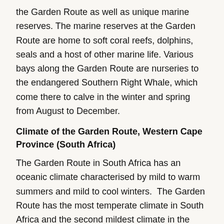the Garden Route as well as unique marine reserves. The marine reserves at the Garden Route are home to soft coral reefs, dolphins, seals and a host of other marine life. Various bays along the Garden Route are nurseries to the endangered Southern Right Whale, which come there to calve in the winter and spring from August to December.
Climate of the Garden Route, Western Cape Province (South Africa)
The Garden Route in South Africa has an oceanic climate characterised by mild to warm summers and mild to cool winters.  The Garden Route has the most temperate climate in South Africa and the second mildest climate in the world, after Hawaii, according to the Guinness Book of Records. Temperatures rarely fall below 10ºC in winter and rarely climb beyond 28ºC in summer. Rain occurs year-round, with a slight peak in the spring months, brought by the humid sea-winds from